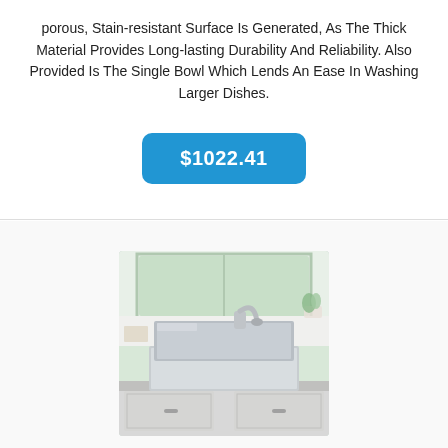porous, Stain-resistant Surface Is Generated, As The Thick Material Provides Long-lasting Durability And Reliability. Also Provided Is The Single Bowl Which Lends An Ease In Washing Larger Dishes.
$1022.41
[Figure (photo): Photo of a stainless steel farmhouse/apron-front single bowl kitchen sink installed in a white kitchen countertop with a chrome faucet, white cabinets below, and a window with greenery in the background.]